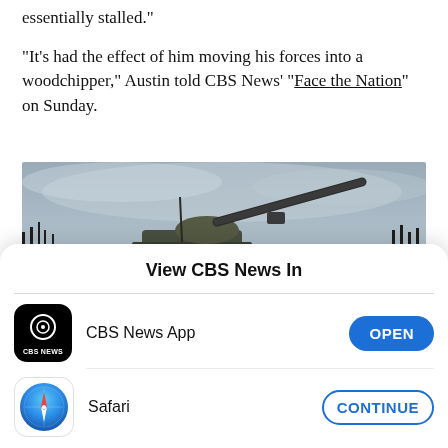essentially stalled."
"It's had the effect of him moving his forces into a woodchipper," Austin told CBS News' "Face the Nation" on Sunday.
[Figure (photo): Photograph of a military tank barrel pointed upward against a grey overcast sky, with bare trees visible in the background.]
View CBS News In
CBS News App
OPEN
Safari
CONTINUE